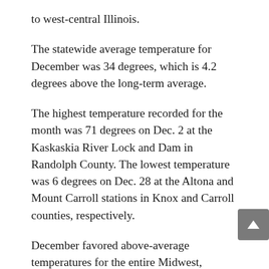to west-central Illinois.
The statewide average temperature for December was 34 degrees, which is 4.2 degrees above the long-term average.
The highest temperature recorded for the month was 71 degrees on Dec. 2 at the Kaskaskia River Lock and Dam in Randolph County. The lowest temperature was 6 degrees on Dec. 28 at the Altona and Mount Carroll stations in Knox and Carroll counties, respectively.
December favored above-average temperatures for the entire Midwest, including Illinois. The largest temperature departures occurred in the upper Midwest and extended down into much of northern Illinois, where several locations finished the month 6 to 7 degrees above the long-term average.